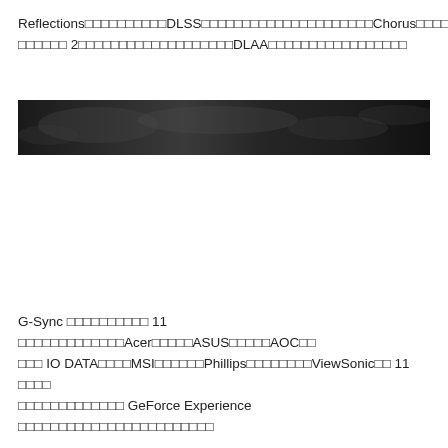Reflections□□□□□□□□□□DLSS□□□□□□□□□□□□□□□□□□□□□Chorus□□□□□□□□□□□ 2□□□□□□□□□□□□□□□□□□□□□DLAA□□□□□□□□□□□□□□□□□□□□
[Figure (photo): A dark, mostly black image strip showing faint grayscale reflections or textures, appearing as a wide horizontal band.]
G-Sync □□□□□□□□□□ 11 □□□□□□□□□□□□□Acer□□□□□ASUS□□□□□AOC□□□□□ IO DATA□□□□MSI□□□□□□Phillips□□□□□□□□ViewSonic□□ 11 □□□□□□□□□□□□□□□□□□ GeForce Experience □□□□□□□□□□□□□□□□□□□□□□□□